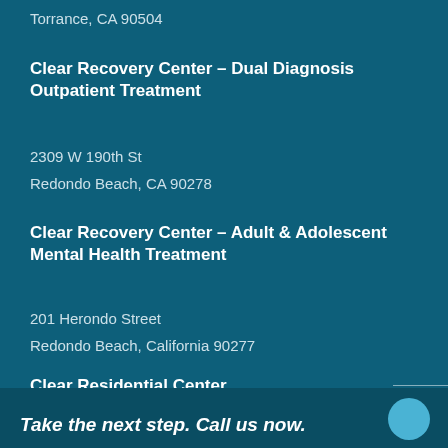Torrance, CA 90504
Clear Recovery Center – Dual Diagnosis Outpatient Treatment
2309 W 190th St
Redondo Beach, CA 90278
Clear Recovery Center – Adult & Adolescent Mental Health Treatment
201 Herondo Street
Redondo Beach, California 90277
Clear Residential Center
328 N Prospect St
Take the next step. Call us now.